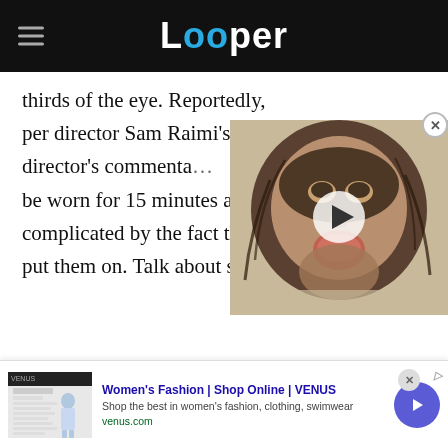Looper
thirds of the eye. Reportedly, per director Sam Raimi's director's commentary, the lenses could only be worn for 15 minutes at a time, which was complicated by the fact that actors had trouble putting them on. Talk about suf...
[Figure (screenshot): Video thumbnail showing a horror movie character wearing a grotesque mask with a large protruding mouth/lips piece, overlaid with a circular play button]
[Figure (screenshot): Advertisement for VENUS Women's Fashion online shop showing website thumbnail, ad title, description and URL with a navigation arrow button]